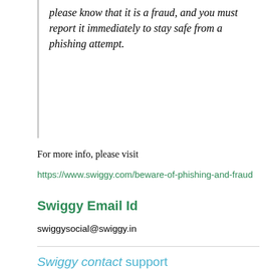please know that it is a fraud, and you must report it immediately to stay safe from a phishing attempt.
For more info, please visit
https://www.swiggy.com/beware-of-phishing-and-fraud
Swiggy Email Id
swiggysocial@swiggy.in
Swiggy contact support
https://www.swiggy.com/support